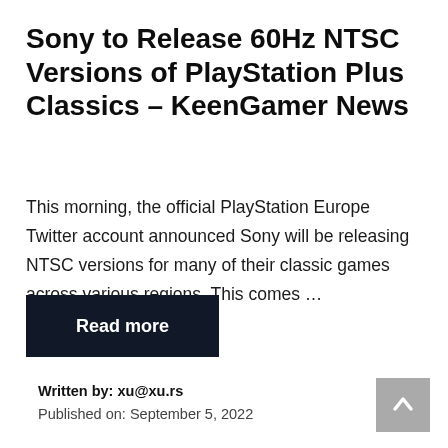Sony to Release 60Hz NTSC Versions of PlayStation Plus Classics – KeenGamer News
This morning, the official PlayStation Europe Twitter account announced Sony will be releasing NTSC versions for many of their classic games across various regions. This comes …
Read more
Written by: xu@xu.rs
Published on: September 5, 2022